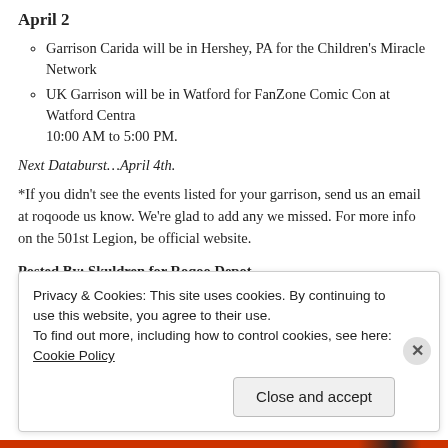April 2
Garrison Carida will be in Hershey, PA for the Children’s Miracle Network
UK Garrison will be in Watford for FanZone Comic Con at Watford Centra 10:00 AM to 5:00 PM.
Next Databurst…April 4th.
*If you didn’t see the events listed for your garrison, send us an email at roqoode us know. We’re glad to add any we missed. For more info on the 501st Legion, be official website.
Posted By: Skuldren for Roqoo Depot.
Privacy & Cookies: This site uses cookies. By continuing to use this website, you agree to their use.
To find out more, including how to control cookies, see here: Cookie Policy
Close and accept